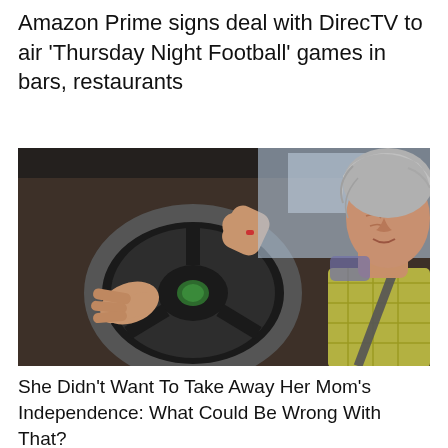Amazon Prime signs deal with DirecTV to air 'Thursday Night Football' games in bars, restaurants
[Figure (photo): Elderly woman with gray hair sitting in driver's seat, gripping the steering wheel of a car, looking over her shoulder toward the camera with a slight smile. Interior of car visible with dashboard and seatbelt.]
She Didn't Want To Take Away Her Mom's Independence: What Could Be Wrong With That?